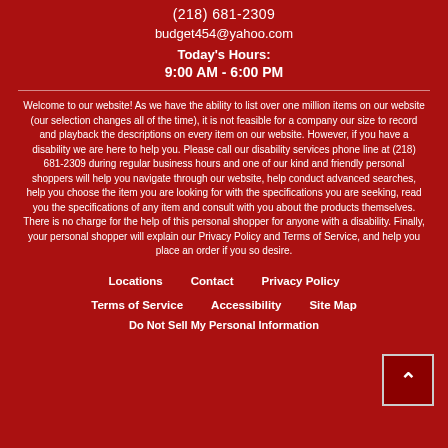(218) 681-2309
budget454@yahoo.com
Today's Hours:
9:00 AM - 6:00 PM
Welcome to our website! As we have the ability to list over one million items on our website (our selection changes all of the time), it is not feasible for a company our size to record and playback the descriptions on every item on our website. However, if you have a disability we are here to help you. Please call our disability services phone line at (218) 681-2309 during regular business hours and one of our kind and friendly personal shoppers will help you navigate through our website, help conduct advanced searches, help you choose the item you are looking for with the specifications you are seeking, read you the specifications of any item and consult with you about the products themselves. There is no charge for the help of this personal shopper for anyone with a disability. Finally, your personal shopper will explain our Privacy Policy and Terms of Service, and help you place an order if you so desire.
Locations   Contact   Privacy Policy   Terms of Service   Accessibility   Site Map   Do Not Sell My Personal Information